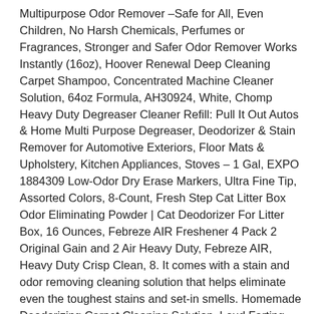Multipurpose Odor Remover –Safe for All, Even Children, No Harsh Chemicals, Perfumes or Fragrances, Stronger and Safer Odor Remover Works Instantly (16oz), Hoover Renewal Deep Cleaning Carpet Shampoo, Concentrated Machine Cleaner Solution, 64oz Formula, AH30924, White, Chomp Heavy Duty Degreaser Cleaner Refill: Pull It Out Autos & Home Multi Purpose Degreaser, Deodorizer & Stain Remover for Automotive Exteriors, Floor Mats & Upholstery, Kitchen Appliances, Stoves – 1 Gal, EXPO 1884309 Low-Odor Dry Erase Markers, Ultra Fine Tip, Assorted Colors, 8-Count, Fresh Step Cat Litter Box Odor Eliminating Powder | Cat Deodorizer For Litter Box, 16 Ounces, Febreze AIR Freshener 4 Pack 2 Original Gain and 2 Air Heavy Duty, Febreze AIR, Heavy Duty Crisp Clean, 8. It comes with a stain and odor removing cleaning solution that helps eliminate even the toughest stains and set-in smells. Homemade Deodorizing Carpet Cleaning Solution. Loud Farting Solution. Then vacuum up